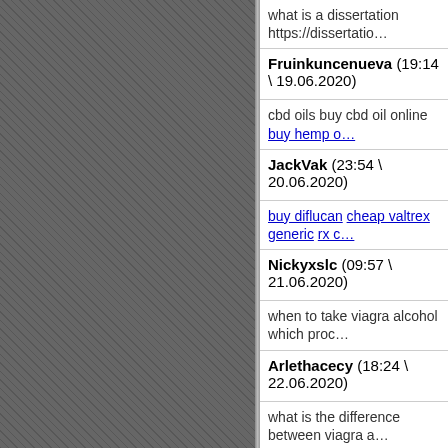what is a dissertation https://dissertatio…
Fruinkuncenueva (19:14 \ 19.06.2020)
cbd oils buy cbd oil online buy hemp o…
JackVak (23:54 \ 20.06.2020)
buy diflucan cheap valtrex generic rx c…
Nickyxslc (09:57 \ 21.06.2020)
when to take viagra alcohol which proc…
Arlethacecy (18:24 \ 22.06.2020)
what is the difference between viagra a…
JoeVak (02:48 \ 24.06.2020)
flomax pills colchicine otc 20 mg preda…
NickVak (06:21 \ 24.06.2020)
flomax pill buy isotretinoin online